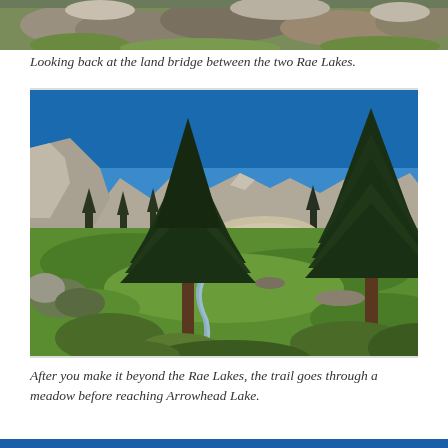[Figure (photo): Top portion of a photo showing rocky mountainside with grass, partially cropped at top of page]
Looking back at the land bridge between the two Rae Lakes.
[Figure (photo): Outdoor landscape photo showing a green meadow with tall evergreen trees on left and right sides, rocky mountains in the background under a bright blue sky. A small stream or path winds through the meadow.]
After you make it beyond the Rae Lakes, the trail goes through a meadow before reaching Arrowhead Lake.